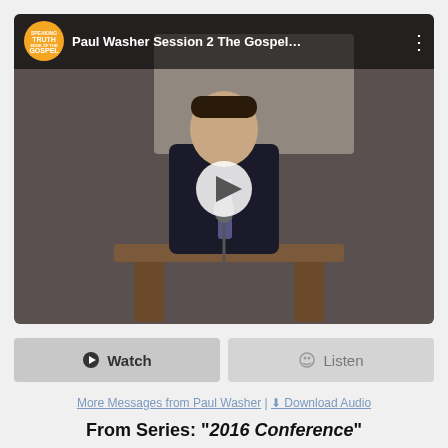[Figure (screenshot): Video thumbnail showing a man in a black suit preaching at a podium with a microphone, with a play button overlay. Top bar shows 'TRUTH GOSPEL' orange logo circle and title 'Paul Washer Session 2 The Gospel...' with a vertical dots menu icon.]
Watch | Listen
More Messages from Paul Washer | Download Audio
From Series: "2016 Conference"
[Figure (infographic): Social share icons: Facebook, Twitter, Share/Forward, Email]